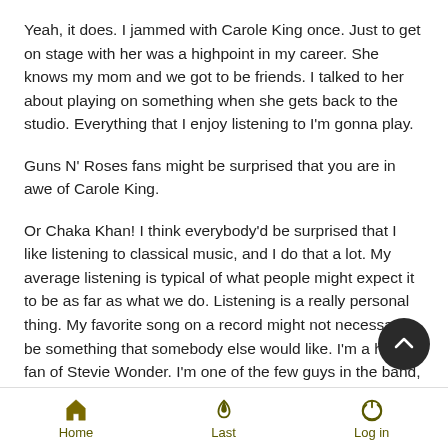Yeah, it does. I jammed with Carole King once. Just to get on stage with her was a highpoint in my career. She knows my mom and we got to be friends. I talked to her about playing on something when she gets back to the studio. Everything that I enjoy listening to I'm gonna play.
Guns N' Roses fans might be surprised that you are in awe of Carole King.
Or Chaka Khan! I think everybody'd be surprised that I like listening to classical music, and I do that a lot. My average listening is typical of what people might expect it to be as far as what we do. Listening is a really personal thing. My favorite song on a record might not necessarily be something that somebody else would like. I'm a huge fan of Stevie Wonder. I'm one of the few guys in the band, or one of the only member the band, that's really heavily influenced by that sort of '70s brand of funk rock. I use that a lot. It has a definite effect on my
Home | Last | Log in